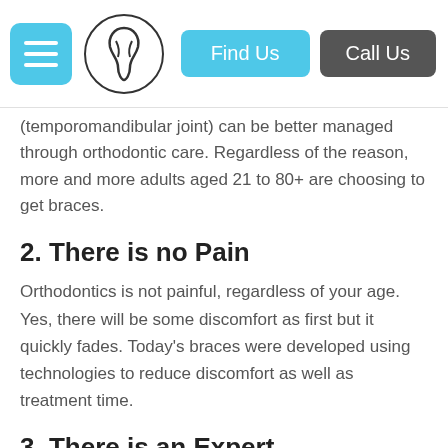Menu | Logo | Find Us | Call Us
(temporomandibular joint) can be better managed through orthodontic care. Regardless of the reason, more and more adults aged 21 to 80+ are choosing to get braces.
2. There is no Pain
Orthodontics is not painful, regardless of your age. Yes, there will be some discomfort as first but it quickly fades. Today's braces were developed using technologies to reduce discomfort as well as treatment time.
3. There is an Expert